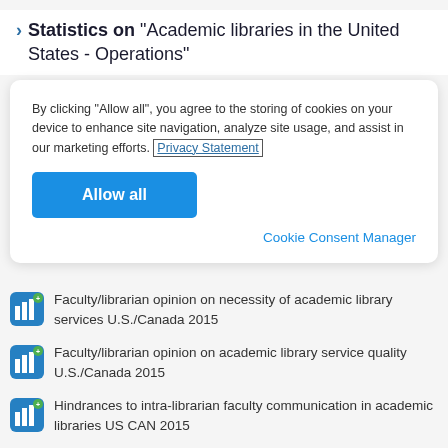Statistics on "Academic libraries in the United States - Operations"
By clicking “Allow all”, you agree to the storing of cookies on your device to enhance site navigation, analyze site usage, and assist in our marketing efforts. Privacy Statement
Allow all
Cookie Consent Manager
Faculty/librarian opinion on necessity of academic library services U.S./Canada 2015
Faculty/librarian opinion on academic library service quality U.S./Canada 2015
Hindrances to intra-librarian faculty communication in academic libraries US CAN 2015